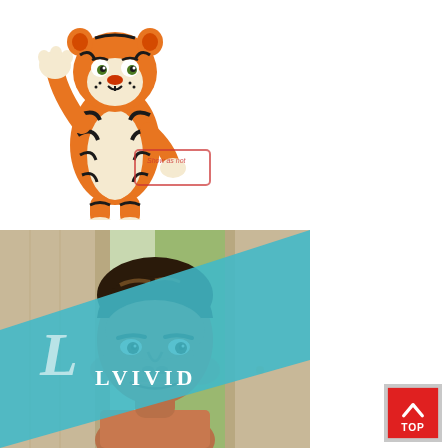[Figure (photo): A tiger mascot costume character standing and waving, with orange and black stripes and a cream belly. A stamp overlay reads 'Show as not'.]
[Figure (photo): A photo of a smiling man with styled dark hair, with a teal diagonal banner showing a stylized script 'L' and 'LVIVID' text overlay.]
[Figure (other): A red button with a white upward chevron arrow and the text 'TOP', used as a back-to-top navigation element.]